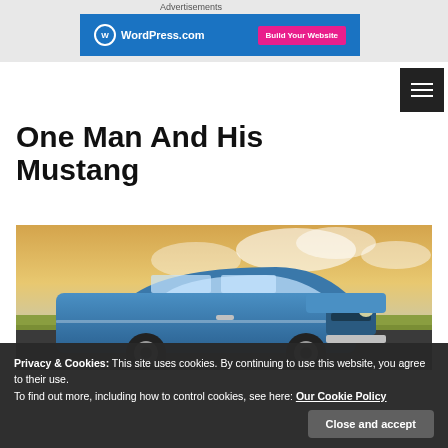Advertisements
[Figure (screenshot): WordPress.com advertisement banner with blue background, WordPress logo on the left and 'Build Your Website' pink button on the right]
One Man And His Mustang
[Figure (photo): A classic blue Ford Mustang parked in front of a wheat field with a dramatic cloudy sky]
Privacy & Cookies: This site uses cookies. By continuing to use this website, you agree to their use.
To find out more, including how to control cookies, see here: Our Cookie Policy
Close and accept